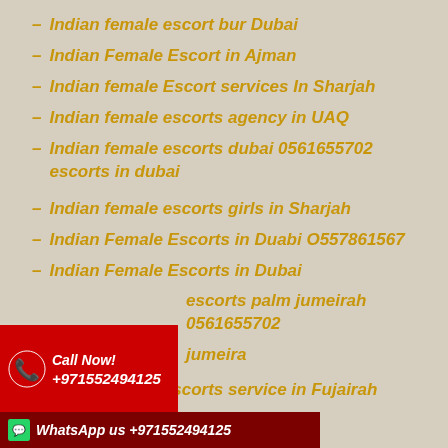Indian female escort bur Dubai
Indian Female Escort in Ajman
Indian female Escort services In Sharjah
Indian female escorts agency in UAQ
Indian female escorts dubai 0561655702 escorts in dubai
Indian female escorts girls in Sharjah
Indian Female Escorts in Duabi O557861567
Indian Female Escorts in Dubai
escorts palm jumeirah 0561655702 ... jumeira
Indian female escorts service in Fujairah
... rjah
[Figure (infographic): Call Now! +971552494125 banner in red with phone icon]
[Figure (infographic): WhatsApp us +971552494125 banner in dark red with WhatsApp icon]